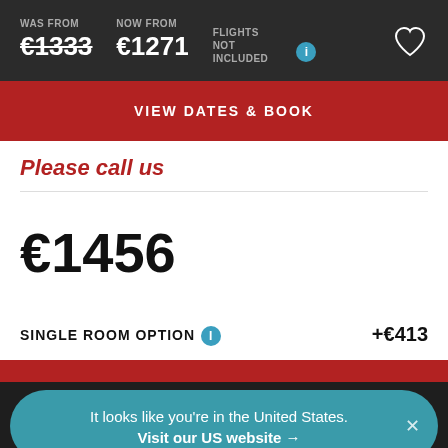WAS FROM €1333  NOW FROM €1271  FLIGHTS NOT INCLUDED
VIEW DATES & BOOK
Please call us
€1456
SINGLE ROOM OPTION  +€413
It looks like you're in the United States. Visit our US website →